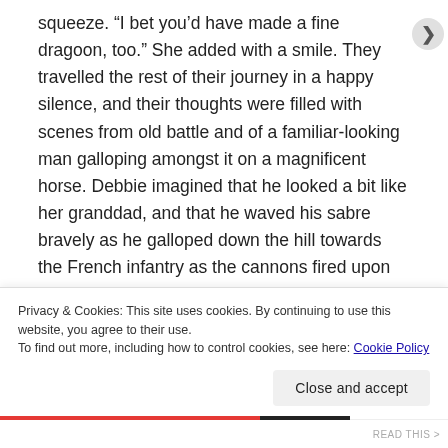squeeze. “I bet you’d have made a fine dragoon, too.” She added with a smile. They travelled the rest of their journey in a happy silence, and their thoughts were filled with scenes from old battle and of a familiar-looking man galloping amongst it on a magnificent horse. Debbie imagined that he looked a bit like her granddad, and that he waved his sabre bravely as he galloped down the hill towards the French infantry as the cannons fired upon them. She promised herself that she would learn more about the Battle of Waterloo after that night was over. She would go to her university
Privacy & Cookies: This site uses cookies. By continuing to use this website, you agree to their use.
To find out more, including how to control cookies, see here: Cookie Policy
Close and accept